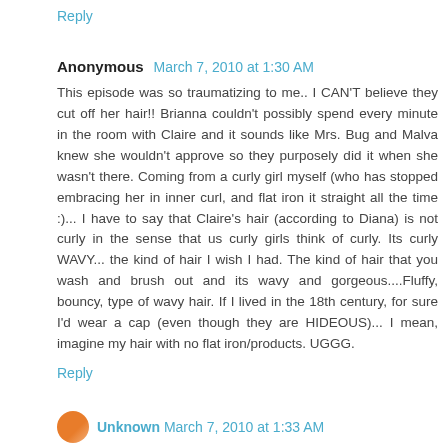Reply
Anonymous  March 7, 2010 at 1:30 AM
This episode was so traumatizing to me.. I CAN'T believe they cut off her hair!! Brianna couldn't possibly spend every minute in the room with Claire and it sounds like Mrs. Bug and Malva knew she wouldn't approve so they purposely did it when she wasn't there. Coming from a curly girl myself (who has stopped embracing her in inner curl, and flat iron it straight all the time :)... I have to say that Claire's hair (according to Diana) is not curly in the sense that us curly girls think of curly. Its curly WAVY... the kind of hair I wish I had. The kind of hair that you wash and brush out and its wavy and gorgeous....Fluffy, bouncy, type of wavy hair. If I lived in the 18th century, for sure I'd wear a cap (even though they are HIDEOUS)... I mean, imagine my hair with no flat iron/products. UGGG.
Reply
Unknown  March 7, 2010 at 1:33 AM